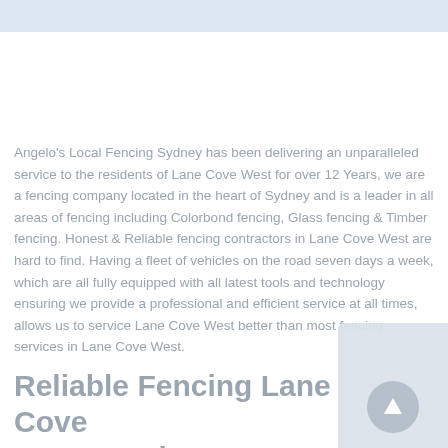Angelo's Local Fencing Sydney has been delivering an unparalleled service to the residents of Lane Cove West for over 12 Years, we are a fencing company located in the heart of Sydney and is a leader in all areas of fencing including Colorbond fencing, Glass fencing & Timber fencing. Honest & Reliable fencing contractors in Lane Cove West are hard to find. Having a fleet of vehicles on the road seven days a week, which are all fully equipped with all latest tools and technology ensuring we provide a professional and efficient service at all times, allows us to service Lane Cove West better than most fencing services in Lane Cove West.
Reliable Fencing Lane Cove West Services